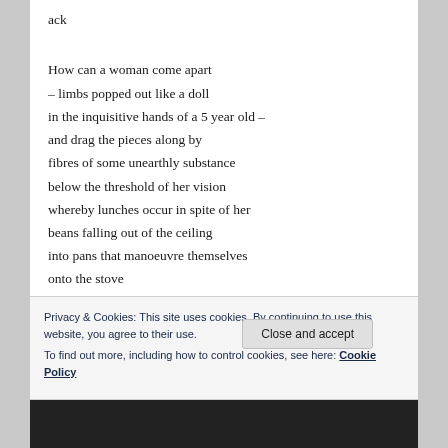ack
How can a woman come apart
– limbs popped out like a doll
in the inquisitive hands of a 5 year old –
and drag the pieces along by
fibres of some unearthly substance
below the threshold of her vision
whereby lunches occur in spite of her
beans falling out of the ceiling
into pans that manoeuvre themselves
onto the stove
loo roll replenishes itself
the baby picks up crumbs and helpfully eats them
crayons roll off the edges of the floor
Privacy & Cookies: This site uses cookies. By continuing to use this website, you agree to their use.
To find out more, including how to control cookies, see here: Cookie Policy
Close and accept